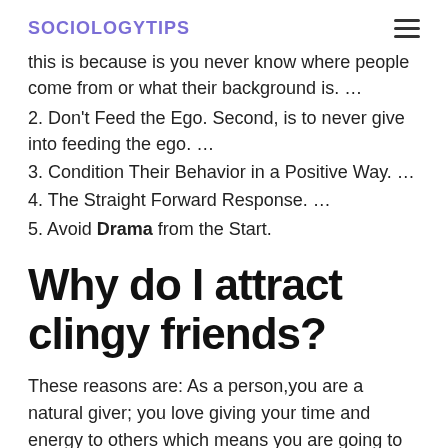SOCIOLOGYTIPS
this is because is you never know where people come from or what their background is. …
2. Don't Feed the Ego. Second, is to never give into feeding the ego. …
3. Condition Their Behavior in a Positive Way. …
4. The Straight Forward Response. …
5. Avoid Drama from the Start.
Why do I attract clingy friends?
These reasons are: As a person,you are a natural giver; you love giving your time and energy to others which means you are going to attract takers. Also, you feel like